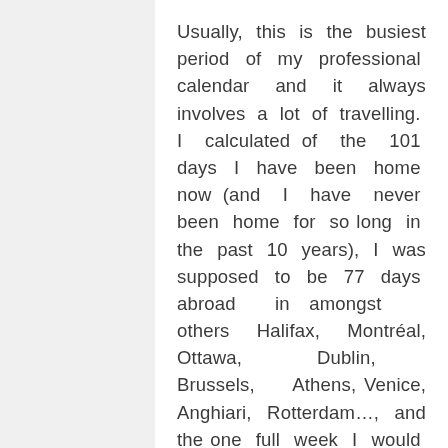Usually, this is the busiest period of my professional calendar and it always involves a lot of travelling. I calculated of the 101 days I have been home now (and I have never been home for so long in the past 10 years), I was supposed to be 77 days abroad in amongst others Halifax, Montréal, Ottawa, Dublin, Brussels, Athens, Venice, Anghiari, Rotterdam…, and the one full week I would have been at home, Stephanie would have been on tour, which would have meant we would have been together as a family for less than 14 days. I might come back later in the week on the absurdity of this 'nomadic' existence, which is rather the rule than the exception in the